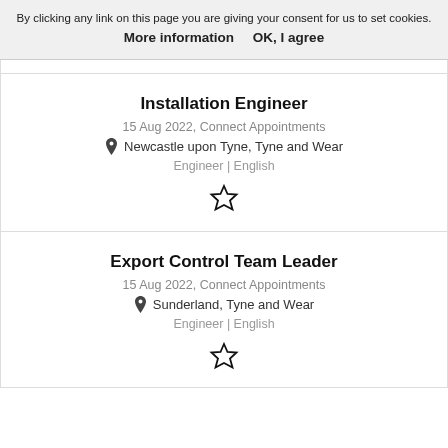By clicking any link on this page you are giving your consent for us to set cookies. More information  OK, I agree
Installation Engineer
15 Aug 2022, Connect Appointments
Newcastle upon Tyne, Tyne and Wear
Engineer | English
Export Control Team Leader
15 Aug 2022, Connect Appointments
Sunderland, Tyne and Wear
Engineer | English